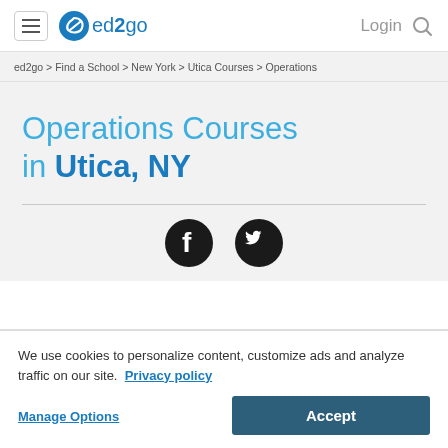ed2go | Login
ed2go > Find a School > New York > Utica Courses > Operations
Operations Courses in Utica, NY
[Figure (illustration): Facebook and Twitter social media icons (dark circular buttons)]
We use cookies to personalize content, customize ads and analyze traffic on our site. Privacy policy
Manage Options
Accept